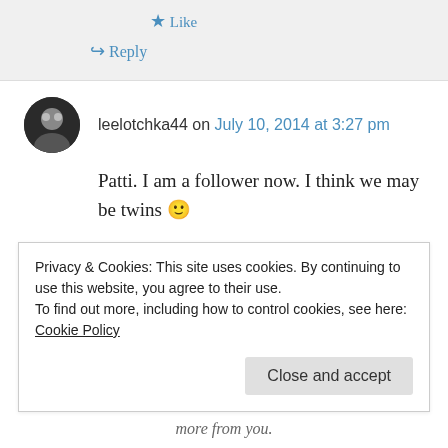★ Like
↪ Reply
leelotchka44 on July 10, 2014 at 3:27 pm
Patti. I am a follower now. I think we may be twins 🙂
★ Liked by 1 person
↪ Reply
Privacy & Cookies: This site uses cookies. By continuing to use this website, you agree to their use.
To find out more, including how to control cookies, see here: Cookie Policy
Close and accept
more from you.